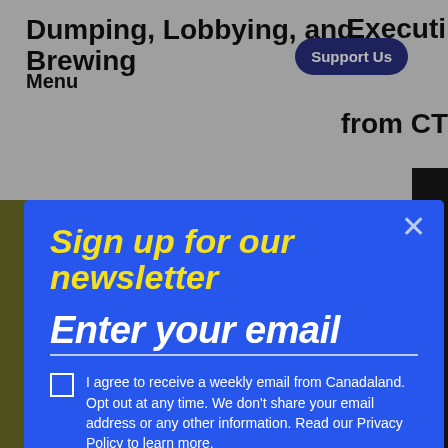Dumping, Lobbying, and Brewing
Menu
Support Us
Executi
om
from CT
Sign up for our newsletter
Enter your email
I agree to receive a weekly email from Canadaland. Opt out at any time. We don't share your email address or any other information. Read our Privacy Policy to learn more.
Subscribe
All
Canadaland
Commons
Cool Mules
All
Stories We Broke
Search